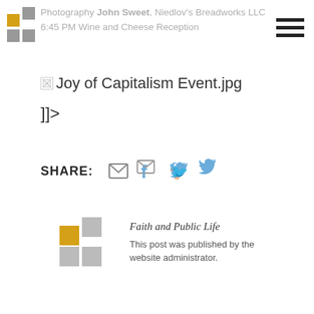Photography John Sweet, Niedlov's Breadworks LLC 6:45 PM Wine and Cheese Reception
[Figure (other): Broken image placeholder next to text: Joy of Capitalism Event.jpg]
]]>
SHARE:
[Figure (other): Share icons: email envelope, Facebook f, Twitter bird]
[Figure (logo): Faith and Public Life logo - cross/plus symbol in yellow and grey]
Faith and Public Life
This post was published by the website administrator.